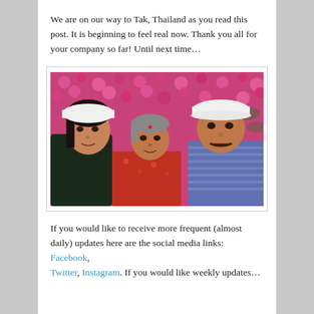We are on our way to Tak, Thailand as you read this post. It is beginning to feel real now. Thank you all for your company so far! Until next time…
[Figure (photo): Three people taking a selfie in front of a wall of bright pink flowers. Two of them wear white caps — a young woman on the left and a man on the right. An older woman is in the middle wearing a red floral dress.]
If you would like to receive more frequent (almost daily) updates here are the social media links: Facebook, Twitter, Instagram. If you would like weekly updates…